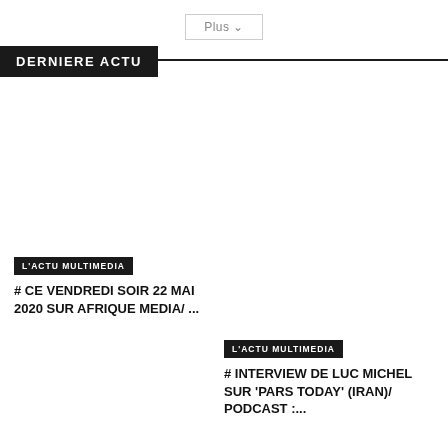Plus ▾
DERNIERE ACTU
L'ACTU MULTIMEDIA
# CE VENDREDI SOIR 22 MAI 2020 SUR AFRIQUE MEDIA/ ...
L'ACTU MULTIMEDIA
# INTERVIEW DE LUC MICHEL SUR 'PARS TODAY' (IRAN)/ PODCAST :...